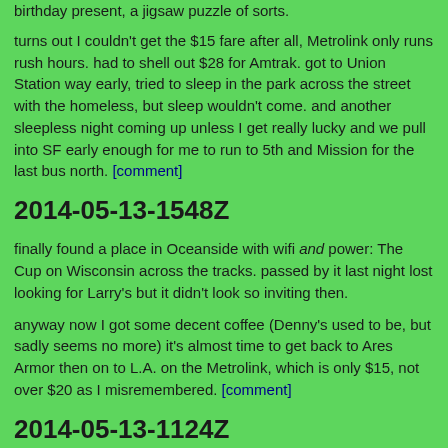birthday present, a jigsaw puzzle of sorts.
turns out I couldn't get the $15 fare after all, Metrolink only runs rush hours. had to shell out $28 for Amtrak. got to Union Station way early, tried to sleep in the park across the street with the homeless, but sleep wouldn't come. and another sleepless night coming up unless I get really lucky and we pull into SF early enough for me to run to 5th and Mission for the last bus north. [comment]
2014-05-13-1548Z
finally found a place in Oceanside with wifi and power: The Cup on Wisconsin across the tracks. passed by it last night lost looking for Larry's but it didn't look so inviting then.
anyway now I got some decent coffee (Denny's used to be, but sadly seems no more) it's almost time to get back to Ares Armor then on to L.A. on the Metrolink, which is only $15, not over $20 as I misremembered. [comment]
2014-05-13-1124Z
got past the gauntlet and out of the Tijuana airport about